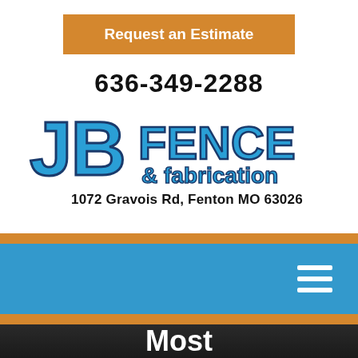Request an Estimate
636-349-2288
[Figure (logo): JB Fence & fabrication logo with address 1072 Gravois Rd, Fenton MO 63026]
[Figure (screenshot): Blue navigation bar with hamburger menu icon on the right]
[Figure (photo): Dark outdoor photo of a fence installation with text 'Most' visible at the bottom]